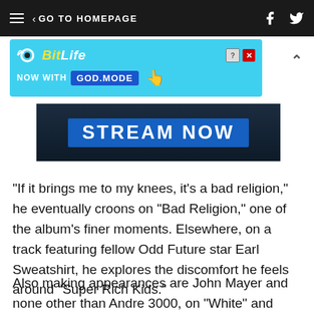GO TO HOMEPAGE
[Figure (screenshot): BitLife advertisement banner - NOW WITH GOD MODE]
[Figure (screenshot): Stream Now promotional image with dark background]
"If it brings me to my knees, it's a bad religion," he eventually croons on "Bad Religion," one of the album's finer moments. Elsewhere, on a track featuring fellow Odd Future star Earl Sweatshirt, he explores the discomfort he feels around "Super Rich Kids."
Also making appearances are John Mayer and none other than Andre 3000, on "White" and "Pink Matter" respectively.